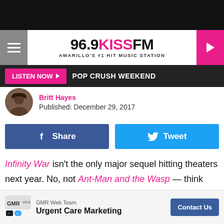96.9 KISS FM — AMARILLO'S #1 HIT MUSIC STATION
LISTEN NOW ▶  POP CRUSH WEEKEND
Britt Hayes
Published: December 29, 2017
Share  Tweet
Infinity War isn't the only major sequel hitting theaters next year. No, not Ant-Man and the Wasp — think outside the MCU, people! Fantastic Beasts: The Crimes of Grindelwald is arriving next fall, reuniting Eddie Redmayne's Newt with Katherine Waterston's Tina, and Dan Fogler's Jacob Kowalski
GMR Web Team
Urgent Care Marketing
Contact Us